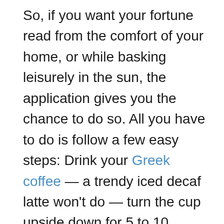So, if you want your fortune read from the comfort of your home, or while basking leisurely in the sun, the application gives you the chance to do so. All you have to do is follow a few easy steps: Drink your Greek coffee — a trendy iced decaf latte won't do — turn the cup upside down for 5 to 10 minutes and take three clear pictures of all sides of the cup. Then upload them to an application via your smart phone, tablet, computer or via Facebook and within minutes an experienced coffee cup fortune-teller will read the cup for you. This online coffee fortune reading service is offered in the English, Greek, Turkish and Arabic languages.